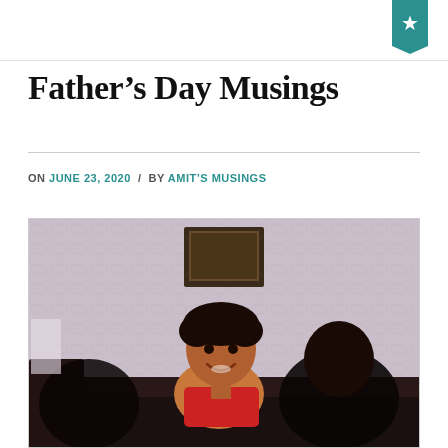Father's Day Musings
ON JUNE 23, 2020  /  BY AMIT'S MUSINGS
[Figure (photo): Old family photograph showing a young child with dark curly hair, smiling, sitting on a sofa or couch in a room with a patterned wallpaper and a framed picture on the wall behind.]